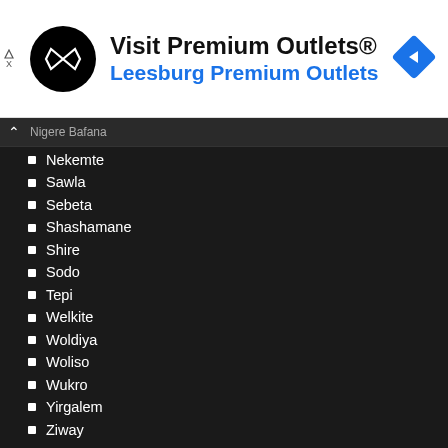[Figure (other): Advertisement banner for Visit Premium Outlets - Leesburg Premium Outlets with logo and navigation arrow icon]
Nekemte
Sawla
Sebeta
Shashamane
Shire
Sodo
Tepi
Welkite
Woldiya
Woliso
Wukro
Yirgalem
Ziway
For job seekers: Create an account | Create a resume | My account | Find jobs
For recruiters: Create an account | My account | Post a job | My jobs | Talent Search
Aboutethiopia-job.com | Privacy policy | Terms and conditions | Sitemap | Contact us
©2022 Copyrights – ethiopia-job.com